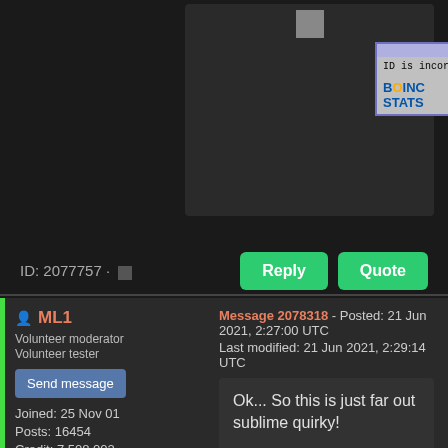[Figure (screenshot): BOINC Stats error image showing 'invalid id' dialog with text 'ID is incorrect!' and BOINC Stats logo]
ID: 2077757 · ▪
Reply
Quote
ML1
Volunteer moderator
Volunteer tester
Send message
Joined: 25 Nov 01
Posts: 16454
Credit: 7,508,002
RAC: 20
🇬🇧 🏆
Message 2078318 - Posted: 21 Jun 2021, 2:27:00 UTC
Last modified: 21 Jun 2021, 2:29:14 UTC
Ok... So this is just far out sublime quirky!

Tubular Church Bells, 8pm 2012

What in all YouTube AI randomness selected that?!